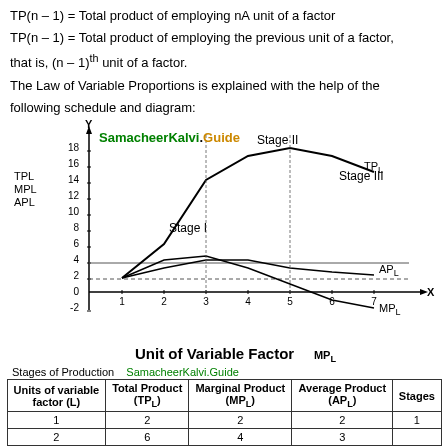TP(n – 1) = Total product of employing nA unit of a factor
TP(n – 1) = Total product of employing the previous unit of a factor, that is, (n – 1)th unit of a factor.
The Law of Variable Proportions is explained with the help of the following schedule and diagram:
[Figure (continuous-plot): Graph showing Total Product (TPL), Average Product (APL), and Marginal Product (MPL) curves across 3 stages of production. X-axis: Unit of Variable Factor (1-7), Y-axis: TPL/MPL/APL values (-2 to 18). Stage I, Stage II, Stage III labeled. SamacheerKalvi.Guide watermark visible.]
Unit of Variable Factor
Stages of Production   SamacheerKalvi.Guide
| Units of variable factor (L) | Total Product (TPL) | Marginal Product (MPL) | Average Product (APL) | Stages |
| --- | --- | --- | --- | --- |
| 1 | 2 | 2 | 2 | 1 |
| 2 | 6 | 4 | 3 |  |